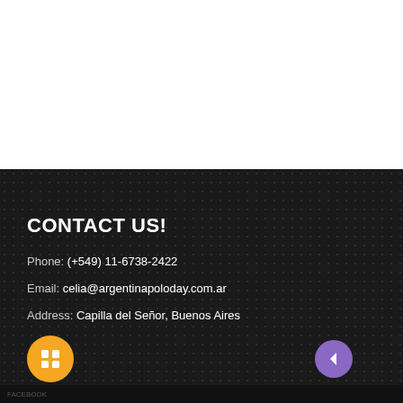CONTACT US!
Phone: (+549) 11-6738-2422
Email: celia@argentinapoloday.com.ar
Address: Capilla del Señor, Buenos Aires
[Figure (logo): Orange circle icon with two rectangles (app/grid icon)]
[Figure (logo): Green circle WhatsApp icon]
FOLLOW US!
[Figure (logo): Purple circle with an arrow/back icon]
FACEBOOK